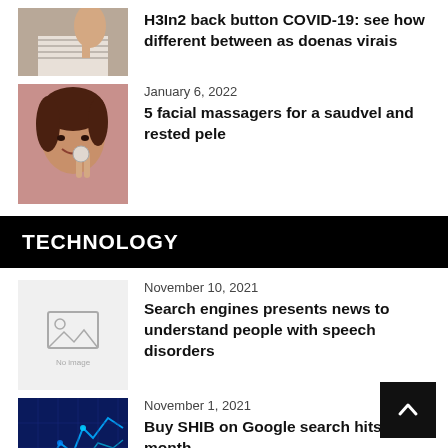[Figure (photo): Person on phone, partial view at top]
H3In2 back button COVID-19: see how different between as doenas virais
[Figure (photo): Young woman smiling, touching face]
January 6, 2022
5 facial massagers for a saudvel and rested pele
TECHNOLOGY
[Figure (photo): Placeholder image icon]
November 10, 2021
Search engines presents news to understand people with speech disorders
[Figure (photo): Blue financial chart/graph technology background]
November 1, 2021
Buy SHIB on Google search hits 3-month